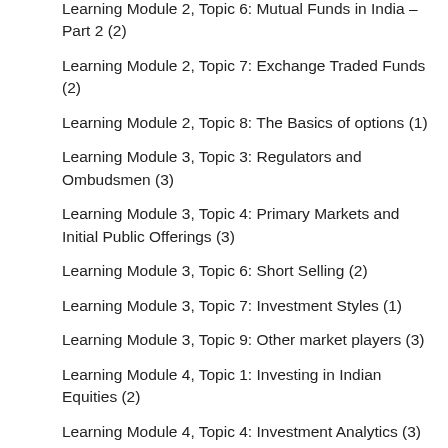Learning Module 2, Topic 6: Mutual Funds in India – Part 2 (2)
Learning Module 2, Topic 7: Exchange Traded Funds (2)
Learning Module 2, Topic 8: The Basics of options (1)
Learning Module 3, Topic 3: Regulators and Ombudsmen (3)
Learning Module 3, Topic 4: Primary Markets and Initial Public Offerings (3)
Learning Module 3, Topic 6: Short Selling (2)
Learning Module 3, Topic 7: Investment Styles (1)
Learning Module 3, Topic 9: Other market players (3)
Learning Module 4, Topic 1: Investing in Indian Equities (2)
Learning Module 4, Topic 4: Investment Analytics (3)
Learning Module 4, Topic 7: Behavioral Finance (1)